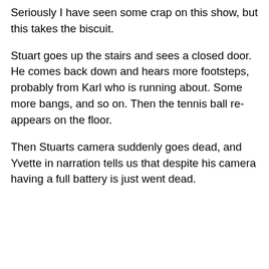Seriously I have seen some crap on this show, but this takes the biscuit.
Stuart goes up the stairs and sees a closed door. He comes back down and hears more footsteps, probably from Karl who is running about. Some more bangs, and so on. Then the tennis ball re-appears on the floor.
Then Stuarts camera suddenly goes dead, and Yvette in narration tells us that despite his camera having a full battery is just went dead.